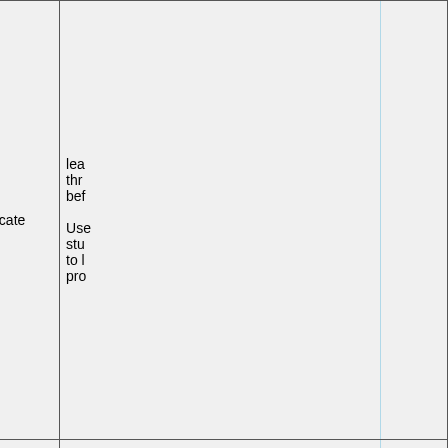| # | Course Name | Certificate | Description |
| --- | --- | --- | --- |
| 11 | Advanced C++ | Certificate | lea...
thr...
bef...

Use...
stu...
to l...
pro... |
| 12 | CellDesigner | Certificate | Cel...
edit...
anc...
Cel...
frie...
Sim...
net...
me...

Use...
stu... |